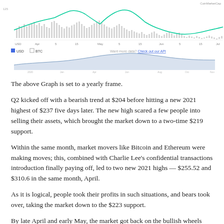[Figure (continuous-plot): CoinMarketCap cryptocurrency price chart showing USD and BTC toggles, with bar chart volume at top, a line chart showing price over time from Apr through Jul, and a secondary smaller chart below showing historical price. Legend shows USD (filled blue square) and BTC (empty square) toggles, and 'Want more data? Check out our API' link.]
The above Graph is set to a yearly frame.
Q2 kicked off with a bearish trend at $204 before hitting a new 2021 highest of $237 five days later. The new high scared a few people into selling their assets, which brought the market down to a two-time $219 support.
Within the same month, market movers like Bitcoin and Ethereum were making moves; this, combined with Charlie Lee’s confidential transactions introduction finally paying off, led to two new 2021 highs — $255.52 and $310.6 in the same month, April.
As it is logical, people took their profits in such situations, and bears took over, taking the market down to the $223 support.
By late April and early May, the market got back on the bullish wheels and broke two resistance at $259 and $276 before flying to a new 2021 high of $370 by May 5th.